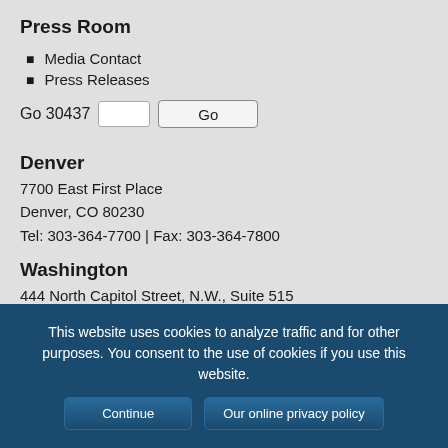Press Room
Media Contact
Press Releases
Go 30437  [input]  Go
Denver
7700 East First Place
Denver, CO 80230
Tel: 303-364-7700 | Fax: 303-364-7800
Washington
444 North Capitol Street, N.W., Suite 515
Washington, D.C. 20001
Tel: 202-624-5400 | Fax: 202-737-1069
This website uses cookies to analyze traffic and for other purposes. You consent to the use of cookies if you use this website.  Continue  Our online privacy policy